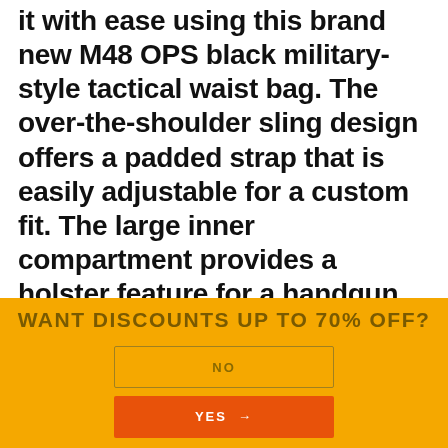it with ease using this brand new M48 OPS black military-style tactical waist bag. The over-the-shoulder sling design offers a padded strap that is easily adjustable for a custom fit. The large inner compartment provides a holster feature for a handgun plus lots of additional storage and organization. Additional compartments and pockets will hold tons of other tactical gear, and the MOLLE webbing on the exterior allows for simple attachment of other types of gear. The sturdy, 1000D nylon construction is heavy duty and built to last,
WANT DISCOUNTS UP TO 70% OFF?
NO
YES →